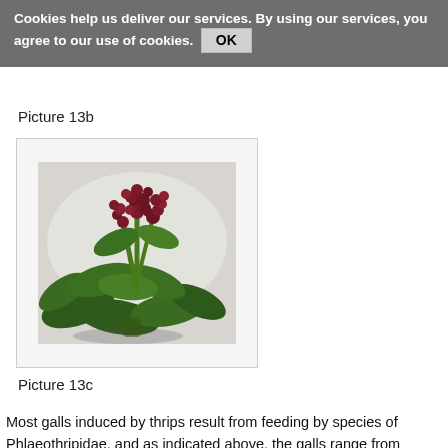Cookies help us deliver our services. By using our services, you agree to our use of cookies. OK
Picture 13b
[Figure (photo): Photograph of a plant with dark red/maroon galls or abnormal growths on its stems and leaves, with dark green leaves, on a light grey/white background.]
Picture 13c
Most galls induced by thrips result from feeding by species of Phlaeothripidae, and as indicated above, the galls range from